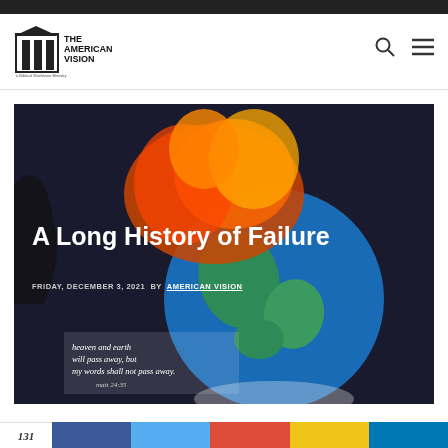[Figure (logo): The American Vision logo — building icon with pillars and text 'THE AMERICAN VISION, a Biblical Worldview Ministry']
[Figure (illustration): Hero image showing a burning/flaming Earth globe against a dark background, with overlay text: title 'A Long History of Failure', date and author 'FRIDAY, DECEMBER 3, 2021 BY AMERICAN VISION', and scripture quote 'heaven and earth will pass away, but my words shall not pass away. matt 24:35']
A Long History of Failure
FRIDAY, DECEMBER 3, 2021 BY AMERICAN VISION